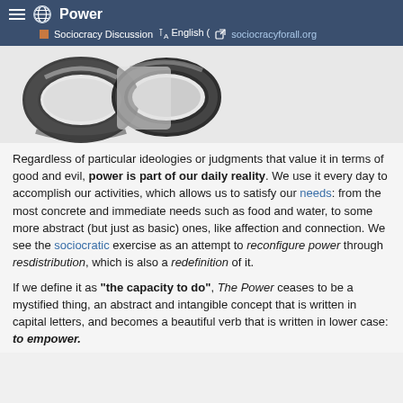Power | Sociocracy Discussion · English ( sociocracyforall.org
[Figure (photo): Close-up black and white illustration of chain links]
Regardless of particular ideologies or judgments that value it in terms of good and evil, power is part of our daily reality. We use it every day to accomplish our activities, which allows us to satisfy our needs: from the most concrete and immediate needs such as food and water, to some more abstract (but just as basic) ones, like affection and connection. We see the sociocratic exercise as an attempt to reconfigure power through resdistribution, which is also a redefinition of it.
If we define it as "the capacity to do", The Power ceases to be a mystified thing, an abstract and intangible concept that is written in capital letters, and becomes a beautiful verb that is written in lower case: to empower.